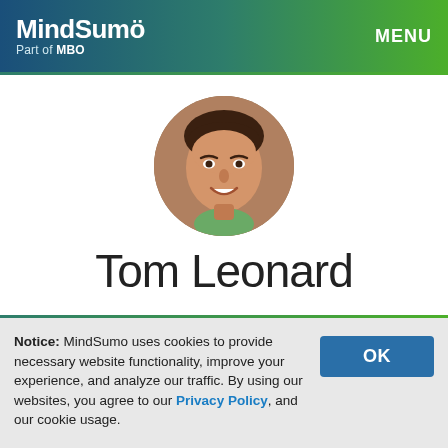MindSumo Part of MBO | MENU
[Figure (photo): Circular profile photo of Tom Leonard, a young man smiling, with brown hair]
Tom Leonard
Notice: MindSumo uses cookies to provide necessary website functionality, improve your experience, and analyze our traffic. By using our websites, you agree to our Privacy Policy, and our cookie usage.